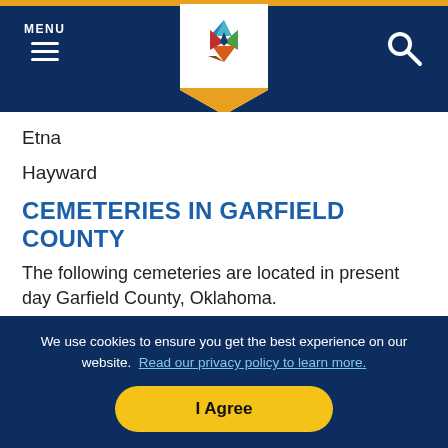MENU [hamburger icon] [logo] [search icon]
Etna
Hayward
CEMETERIES IN GARFIELD COUNTY
The following cemeteries are located in present day Garfield County, Oklahoma.
Baldwin Cemetery
We use cookies to ensure you get the best experience on our website. Read our privacy policy to learn more.
I Agree